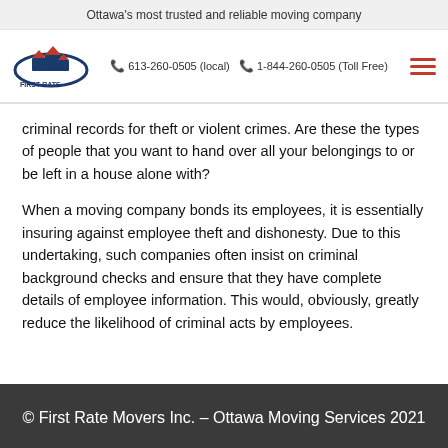Ottawa's most trusted and reliable moving company
[Figure (logo): First Rate Movers logo with house/roof icon and company name]
613-260-0505 (local)  1-844-260-0505 (Toll Free)
criminal records for theft or violent crimes. Are these the types of people that you want to hand over all your belongings to or be left in a house alone with?
When a moving company bonds its employees, it is essentially insuring against employee theft and dishonesty. Due to this undertaking, such companies often insist on criminal background checks and ensure that they have complete details of employee information. This would, obviously, greatly reduce the likelihood of criminal acts by employees.
© First Rate Movers Inc. – Ottawa Moving Services 2021